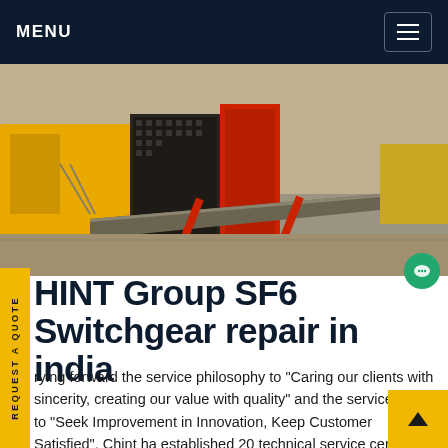MENU
[Figure (photo): Yellow and red industrial switchgear/electrical equipment on a factory floor, with metal ramp and machinery visible]
HINT Group SF6 Switchgear repair in india
Carrying forward the service philosophy to "Caring our clients with sincerity, creating our value with quality" and the service tenet to "Seek Improvement in Innovation, Keep Customer Satisfied", Chint has established 20 technical service centers (15 in China and 5 overseas) and a three-level service system to